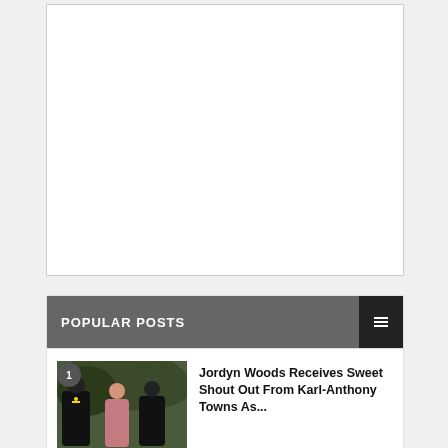[Figure (other): Advertisement placeholder box, white background with gray border]
POPULAR POSTS
[Figure (photo): Photo of Jordyn Woods with Karl-Anthony Towns at an event, people in dark clothing outdoors]
Jordyn Woods Receives Sweet Shout Out From Karl-Anthony Towns As...
[Figure (photo): Photo of Varun Dhawan and Natasha Dalal standing together, formal attire]
PHOTOS: Varun Dhawan and Natasha Dalal make 1st appearance in...